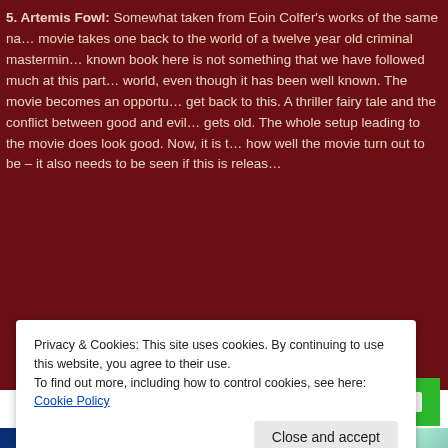5. Artemis Fowl: Somewhat taken from Eoin Colfer's works of the same name, this movie takes one back to the world of a twelve year old criminal mastermind. The known book here is not something that we have followed much at this part of the world, even though it has been well known. The movie becomes an opportunity to get back to this. A thriller fairy tale and the conflict between good and evil never gets old. The whole setup leading to the movie does look good. Now, it is to be seen how well the movie turn out to be – it also needs to be seen if this is released...
[Figure (screenshot): Jetpack advertisement banner with green background showing Jetpack logo and 'Back up your site' button]
[Figure (photo): Space/cosmic imagery with blue and green swirling nebula or galaxy]
Privacy & Cookies: This site uses cookies. By continuing to use this website, you agree to their use. To find out more, including how to control cookies, see here: Cookie Policy
Close and accept